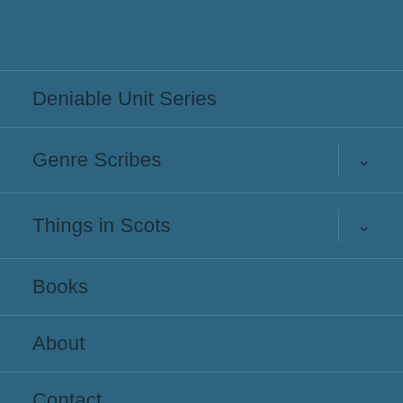Deniable Unit Series
Genre Scribes
Things in Scots
Books
About
Contact
Privacy Policy